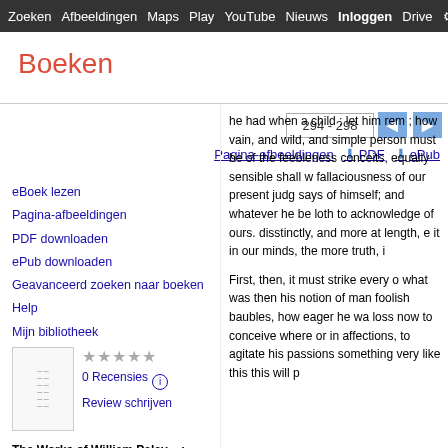Zoeken  Afbeeldingen  Maps  Play  YouTube  Nieuws  Inloggen  Drive  M
Boeken
294 - 298
Pagina-afbeeldingen  PDF  ePub
eBoek lezen
Pagina-afbeeldingen
PDF downloaden
ePub downloaden
Geavanceerd zoeken naar boeken
Help
Mijn bibliotheek
0 Recensies
Review schrijven
The Works of William Paley ...:
Comprising the Additional Volume ...,
he had when a child ; let him rem ; how vain, and wild, and simple person must be of the feebleness conceits, equally sensible shall w fallaciousness of our present judg says of himself; and whatever he be loth to acknowledge of ours. disstinctly, and more at length, e it in our minds, the more truth, i

First, then, it must strike every o what was then his notion of man foolish baubles, how eager he wa loss now to conceive where or in affections, to agitate his passions something very like this this will p